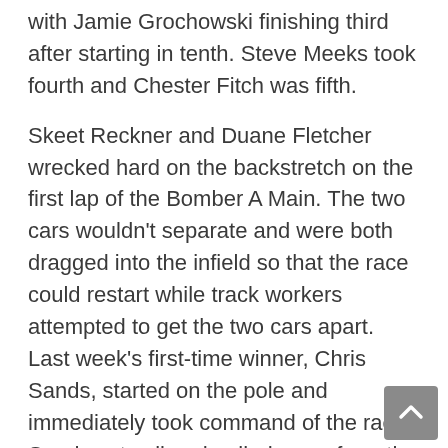with Jamie Grochowski finishing third after starting in tenth. Steve Meeks took fourth and Chester Fitch was fifth.
Skeet Reckner and Duane Fletcher wrecked hard on the backstretch on the first lap of the Bomber A Main. The two cars wouldn't separate and were both dragged into the infield so that the race could restart while track workers attempted to get the two cars apart. Last week's first-time winner, Chris Sands, started on the pole and immediately took command of the race. Sands set sail and pulled away from the rest of the competitors while Gregg Detray and Terry Rushlow had a heck of a battle for second. Those two drivers battled side by side almost the entire race. Sands easily won his second A Main in a row while Detray was able to fend off Rushlow for second. Curt Dickie finished